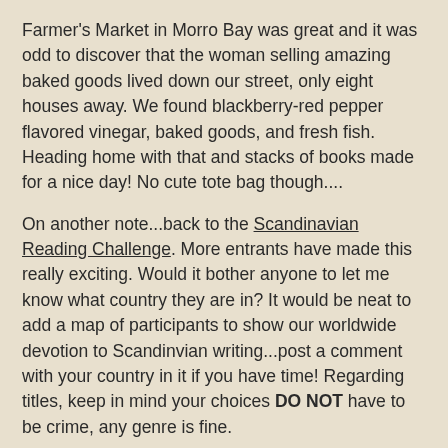Farmer's Market in Morro Bay was great and it was odd to discover that the woman selling amazing baked goods lived down our street, only eight houses away.  We found blackberry-red pepper flavored vinegar, baked goods, and fresh fish.  Heading home with that and stacks of books made for a nice day!  No cute tote bag though....
On another note...back to the Scandinavian Reading Challenge.  More entrants have made this really exciting.  Would it bother anyone to let me know what country they are in?  It would be neat to add a map of participants to show our worldwide devotion to Scandinvian writing...post a comment with your country in it if you have time! Regarding titles, keep in mind your choices DO NOT have to be crime, any genre is fine.
It's not Scandinavian, but I'm currently reading The Confessions of Noa Weber, winner of the best literary translation award for a novel.  Hard to get into, but now I'm hooked.